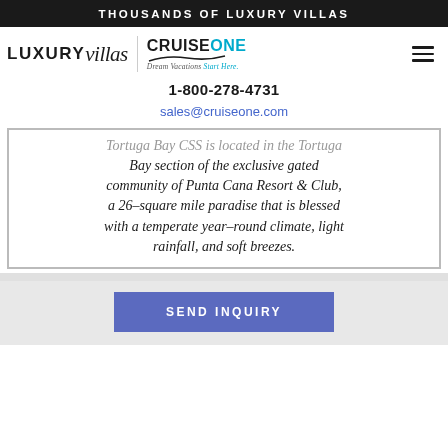THOUSANDS OF LUXURY VILLAS
[Figure (logo): LUXURY villas | CRUISE ONE Dream Vacations Start Here logo with hamburger menu icon]
1-800-278-4731
sales@cruiseone.com
Tortuga Bay CSS is located in the Tortuga Bay section of the exclusive gated community of Punta Cana Resort & Club, a 26-square mile paradise that is blessed with a temperate year-round climate, light rainfall, and soft breezes.
SEND INQUIRY